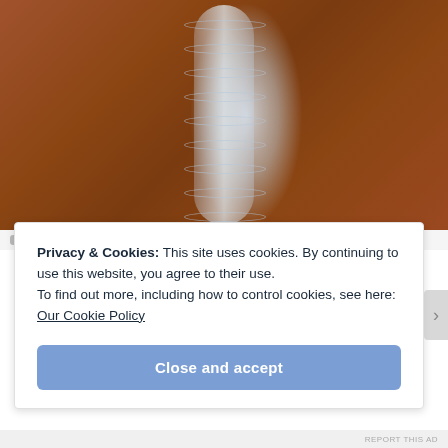[Figure (photo): Close-up photo of a clear plastic water bottle lying on a wooden surface, viewed from above at an angle. The bottle has ribbed ridges around its body and appears to contain water with some residue at the bottom. The wooden surface is reddish-brown.]
Privacy & Cookies: This site uses cookies. By continuing to use this website, you agree to their use.
To find out more, including how to control cookies, see here: Our Cookie Policy
Close and accept